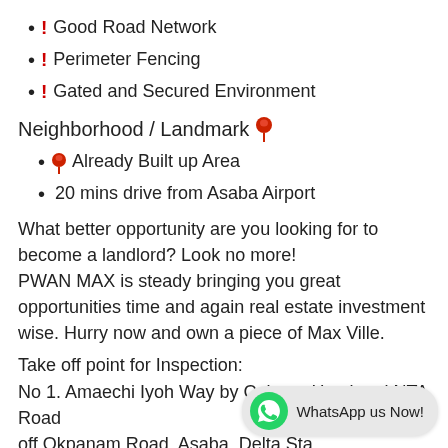! Good Road Network
! Perimeter Fencing
! Gated and Secured Environment
Neighborhood / Landmark 📍
📍 Already Built up Area
20 mins drive from Asaba Airport
What better opportunity are you looking for to become a landlord? Look no more! PWAN MAX is steady bringing you great opportunities time and again real estate investment wise. Hurry now and own a piece of Max Ville.
Take off point for Inspection:
No 1. Amaechi Iyoh Way by Cabana Hotel and NTA Road off Okpanam Road, Asaba, Delta Sta…